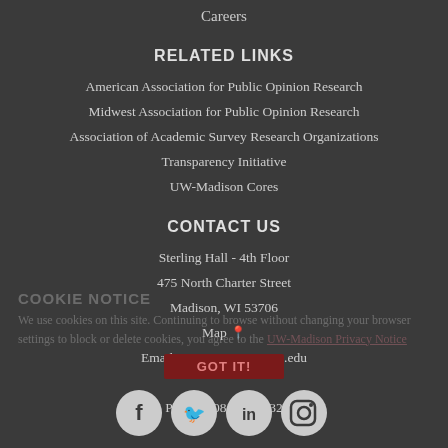Careers
RELATED LINKS
American Association for Public Opinion Research
Midwest Association for Public Opinion Research
Association of Academic Survey Research Organizations
Transparency Initiative
UW-Madison Cores
CONTACT US
Sterling Hall - 4th Floor
475 North Charter Street
Madison, WI 53706
Map
Email: stevenso@ssc.wisc.edu
Phone: 608-262-9032
COOKIE NOTICE
We use cookies on this site. Continuing to browse without changing your browser settings to block or delete cookies, you agree to the UW-Madison Privacy Notice
GOT IT!